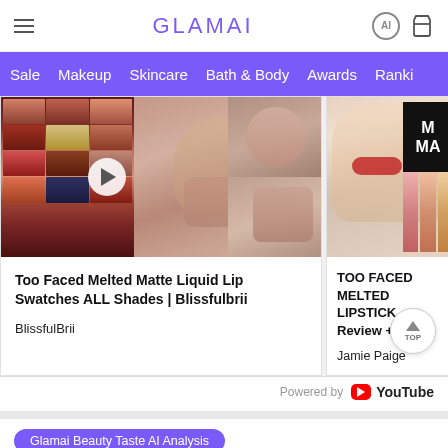GLAMAI
Sale  Makeup  Skincare  Bath & Body  Awards  Ranki…
[Figure (screenshot): Thumbnail collage of lipstick swatches and a woman holding liquid lipsticks with a play button overlay]
Too Faced Melted Matte Liquid Lip Swatches ALL Shades | Blissfulbrii
BlissfulBrii
[Figure (screenshot): Thumbnail of woman holding Too Faced Melted Matte lipsticks, partially visible, cropped right side]
TOO FACED MELTED LIPSTICK Review + Li…
Jamie Paige
Powered by YouTube
Glamai Beauty Taste AI Analysis
People's Taste Awards